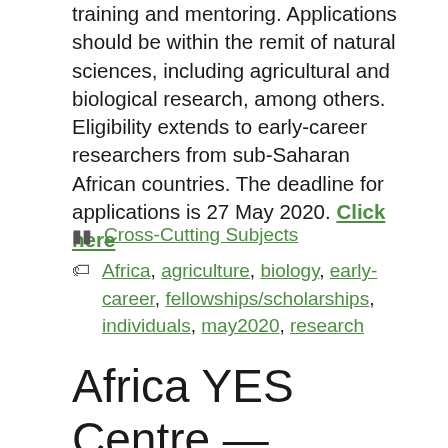training and mentoring. Applications should be within the remit of natural sciences, including agricultural and biological research, among others. Eligibility extends to early-career researchers from sub-Saharan African countries. The deadline for applications is 27 May 2020. Click here
Cross-Cutting Subjects
Africa, agriculture, biology, early-career, fellowships/scholarships, individuals, may2020, research
Africa YES Centre — Social